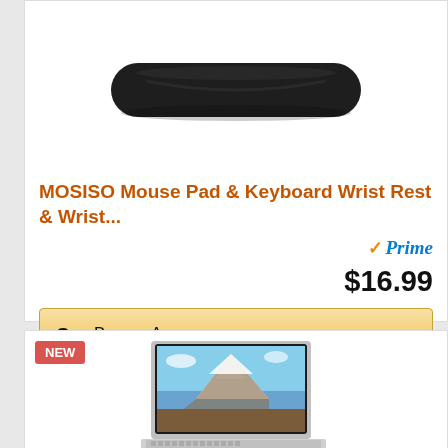[Figure (photo): Black keyboard wrist rest pad, elongated oval shape]
MOSISO Mouse Pad & Keyboard Wrist Rest & Wrist...
Prime $16.99
Buy on Amazon
NEW
[Figure (photo): Laptop on a stand showing mountain landscape on screen]